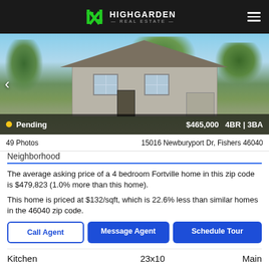HIGHGARDEN REAL ESTATE
[Figure (photo): Exterior photo of a residential home with trees, gray siding, and multiple windows. Pending status shown with $465,000 price, 4BR | 3BA.]
49 Photos    15016 Newburyport Dr, Fishers 46040
Neighborhood
The average asking price of a 4 bedroom Fortville home in this zip code is $479,823 (1.0% more than this home).
This home is priced at $132/sqft, which is 22.6% less than similar homes in the 46040 zip code.
Call Agent   Message Agent   Schedule Tour
|  |  |  |
| --- | --- | --- |
| Kitchen | 23x10 | Main |